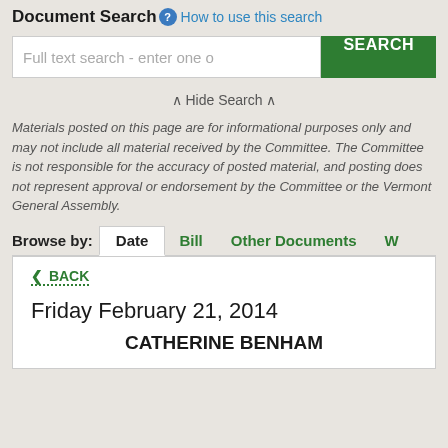Document Search  How to use this search
Full text search - enter one o
SEARCH
^ Hide Search ^
Materials posted on this page are for informational purposes only and may not include all material received by the Committee. The Committee is not responsible for the accuracy of posted material, and posting does not represent approval or endorsement by the Committee or the Vermont General Assembly.
Browse by:  Date  Bill  Other Documents  W
< BACK
Friday February 21, 2014
CATHERINE BENHAM